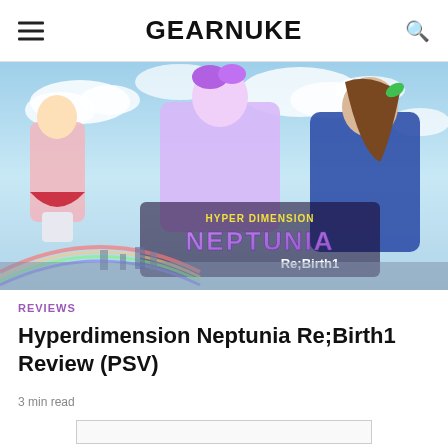GEARNUKE
[Figure (illustration): Hyperdimension Neptunia Re;Birth1 anime-style game cover art showing three female characters with colorful hair against a blue sky background, with the game logo text 'HYPER DIMENSION NEPTUNIA Re;Birth1' overlaid]
REVIEWS
Hyperdimension Neptunia Re;Birth1 Review (PSV)
3 min read